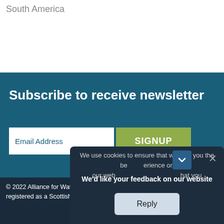South America
Subscribe to receive newsletter
Email Address
SIGNUP
© 2022 Alliance for Water Stewardship. All rights reserved. AWS is registered as a Scottish Charitable Incorporated Organisation
We use cookies to ensure that we give you the best experience on our web... that you
We'd like your feedback on our website
Reply